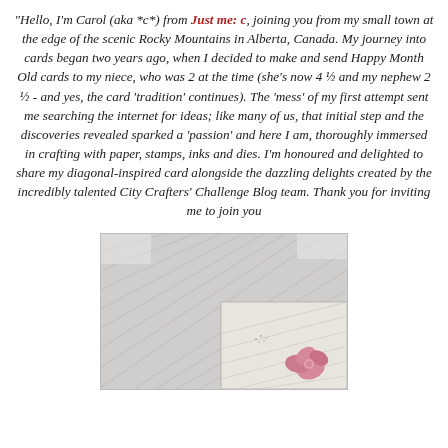"Hello, I'm Carol (aka *c*) from Just me: c, joining you from my small town at the edge of the scenic Rocky Mountains in Alberta, Canada. My journey into cards began two years ago, when I decided to make and send Happy Month Old cards to my niece, who was 2 at the time (she's now 4 ½ and my nephew 2 ½ - and yes, the card 'tradition' continues). The 'mess' of my first attempt sent me searching the internet for ideas; like many of us, that initial step and the discoveries revealed sparked a 'passion' and here I am, thoroughly immersed in crafting with paper, stamps, inks and dies. I'm honoured and delighted to share my diagonal-inspired card alongside the dazzling delights created by the incredibly talented City Crafters' Challenge Blog team. Thank you for inviting me to join you
[Figure (photo): A photograph of a handmade card with diagonal stripe texture and a pink flower embellishment, placed against a snowy background.]